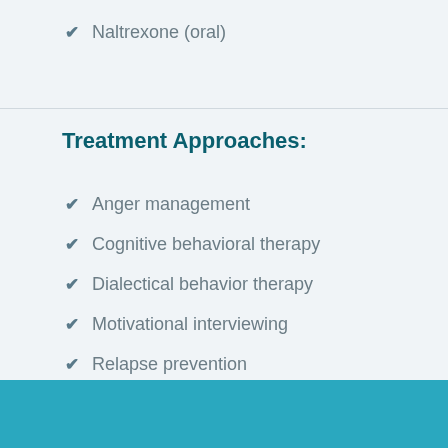Naltrexone (oral)
Treatment Approaches:
Anger management
Cognitive behavioral therapy
Dialectical behavior therapy
Motivational interviewing
Relapse prevention
Substance abuse counseling
Trauma-related counseling